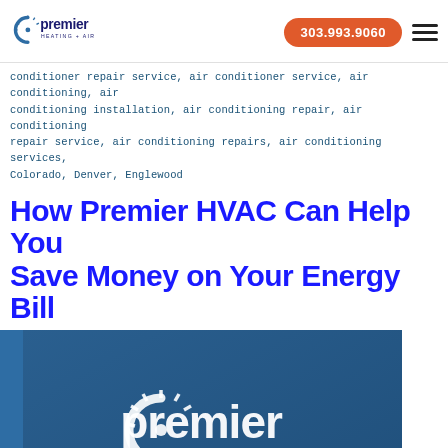Premier Heating + Air — 303.993.9060
conditioner repair service, air conditioner service, air conditioning, air conditioning installation, air conditioning repair, air conditioning repair service, air conditioning repairs, air conditioning services, Colorado, Denver, Englewood
How Premier HVAC Can Help You Save Money on Your Energy Bill
[Figure (logo): Premier Heating + Air logo displayed on a blue background hero image, with a white Premier logo centered, and a red chat bubble icon in the bottom right.]